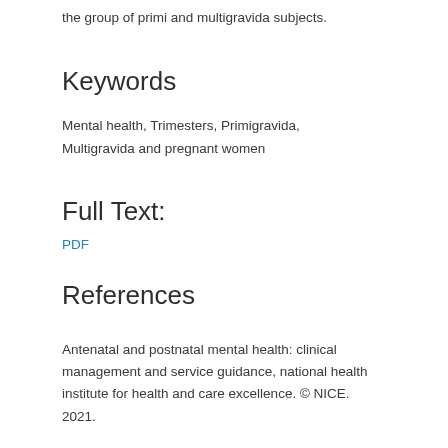the group of primi and multigravida subjects.
Keywords
Mental health, Trimesters, Primigravida, Multigravida and pregnant women
Full Text:
PDF
References
Antenatal and postnatal mental health: clinical management and service guidance, national health institute for health and care excellence. © NICE. 2021.
Bowen A, Muhajarine N. Prevalence of antenatal depression in women enrolled in an outreach program in Canada. J Obstet Gynaecol Neonatal